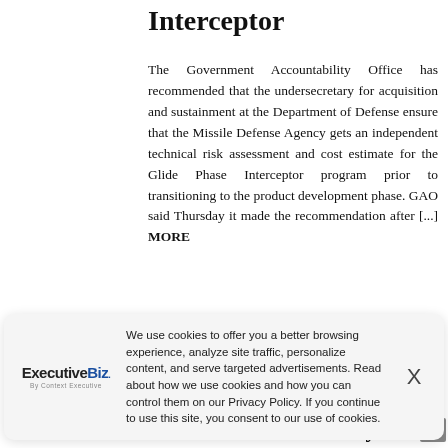Interceptor
The Government Accountability Office has recommended that the undersecretary for acquisition and sustainment at the Department of Defense ensure that the Missile Defense Agency gets an independent technical risk assessment and cost estimate for the Glide Phase Interceptor program prior to transitioning to the product development phase. GAO said Thursday it made the recommendation after [...] MORE
[Figure (logo): ExecutiveBiz logo with tagline 'By Context Executive']
We use cookies to offer you a better browsing experience, analyze site traffic, personalize content, and serve targeted advertisements. Read about how we use cookies and how you can control them on our Privacy Policy. If you continue to use this site, you consent to our use of cookies.
Performance with Army's THAAD Defense Platform